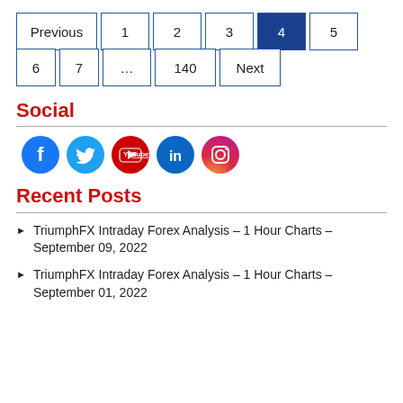Pagination: Previous 1 2 3 4 (active) 5 6 7 ... 140 Next
Social
[Figure (infographic): Social media icons: Facebook, Twitter, YouTube, LinkedIn, Instagram]
Recent Posts
TriumphFX Intraday Forex Analysis – 1 Hour Charts – September 09, 2022
TriumphFX Intraday Forex Analysis – 1 Hour Charts – September 01, 2022